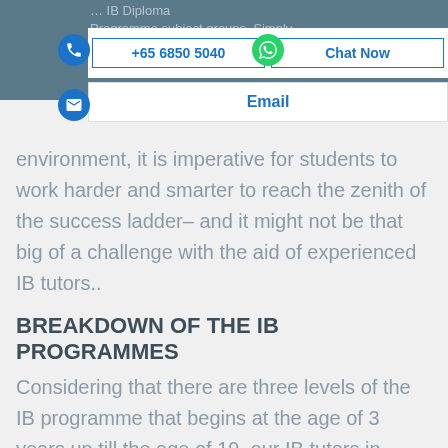+65 6850 5040 | Chat Now | Email
environment, it is imperative for students to work harder and smarter to reach the zenith of the success ladder– and it might not be that big of a challenge with the aid of experienced IB tutors..
BREAKDOWN OF THE IB PROGRAMMES
Considering that there are three levels of the IB programme that begins at the age of 3 years up till the age of 19, our IB tutors in